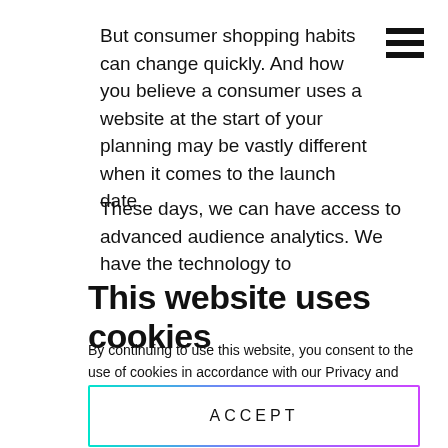But consumer shopping habits can change quickly. And how you believe a consumer uses a website at the start of your planning may be vastly different when it comes to the launch date.
These days, we can have access to advanced audience analytics. We have the technology to
This website uses cookies
By continuing to use this website, you consent to the use of cookies in accordance with our Privacy and Cookie Policies.
ACCEPT